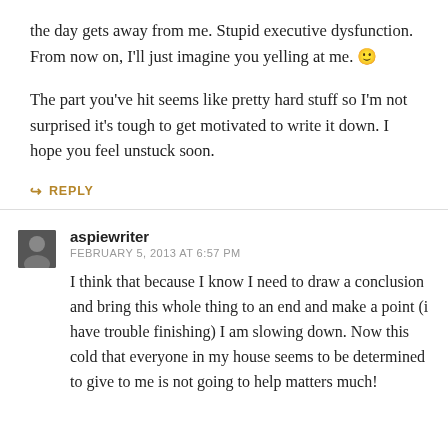the day gets away from me. Stupid executive dysfunction. From now on, I'll just imagine you yelling at me. 🙂
The part you've hit seems like pretty hard stuff so I'm not surprised it's tough to get motivated to write it down. I hope you feel unstuck soon.
↪ REPLY
aspiewriter
FEBRUARY 5, 2013 AT 6:57 PM
I think that because I know I need to draw a conclusion and bring this whole thing to an end and make a point (i have trouble finishing) I am slowing down. Now this cold that everyone in my house seems to be determined to give to me is not going to help matters much!